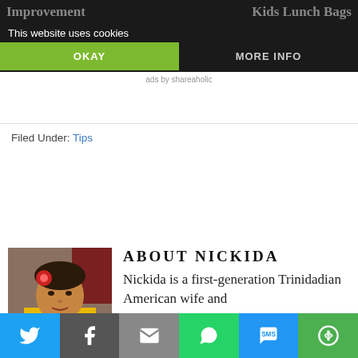[Figure (screenshot): Top ad banners partially visible: left shows 'Improvement Project', right shows 'Kids Lunch Bags from Zak' on dark background]
This website uses cookies
OKAY
MORE INFO
ads by shareaholic
Filed Under: Tips
[Figure (photo): Photo of Nickida, a woman with a red flower in her hair wearing a yellow top]
ABOUT NICKIDA
Nickida is a first-generation Trinidadian American wife and